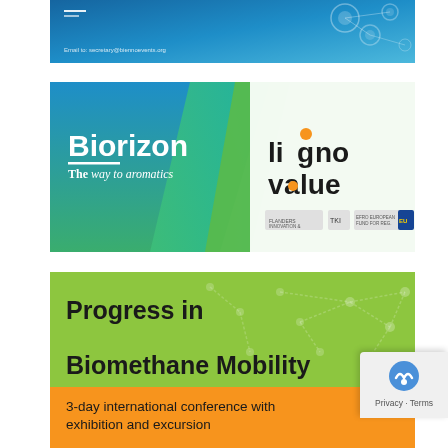[Figure (illustration): Blue chemistry/molecular banner with molecule decoration and contact email text, gradient blue background]
[Figure (logo): Biorizon 'The way to aromatics' logo on green/teal diagonal background, alongside lignovalue logo with partner institution logos]
[Figure (illustration): Progress in Biomethane Mobility conference banner, green background with network node decoration, orange sub-bar reading '3-day international conference with exhibition and excursion']